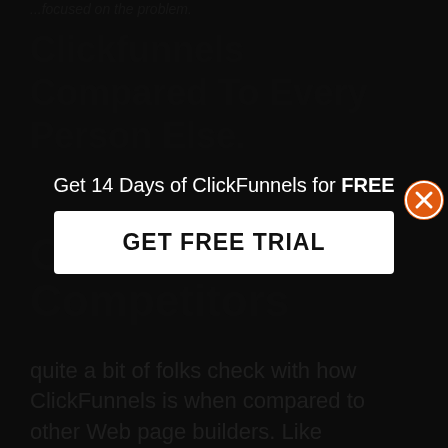...focused on the problem.
Clickfunnels Compared To Every Person Else.
ClickFunnels
Competitors
[Figure (screenshot): Popup overlay with text 'Get 14 Days of ClickFunnels for FREE' and a white GET FREE TRIAL button, with an orange X close button in the upper right]
quite a bit of folks check with how ClickFunnels is when compared to other Web page builders. Like